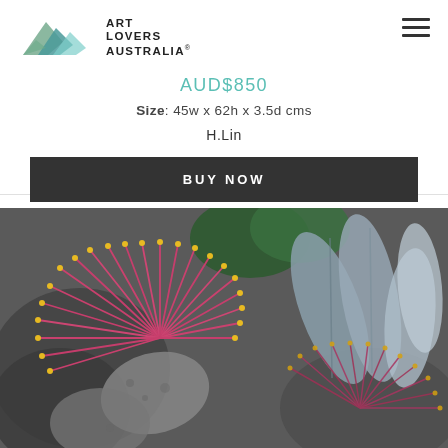[Figure (logo): Art Lovers Australia logo with mountain/landscape icon in green and teal tones, followed by bold uppercase text ART LOVERS AUSTRALIA with registered trademark symbol]
AUD$850
Size: 45w x 62h x 3.5d cms
H.Lin
BUY NOW
[Figure (photo): Close-up photograph of a botanical artwork showing pink/magenta Australian native flowers (possibly Eucalyptus or Waratah) with long stamens tipped in gold/yellow, surrounded by grey-green leaves with detailed vein patterns, rendered in a watercolour or mixed media style on a dark textured background]